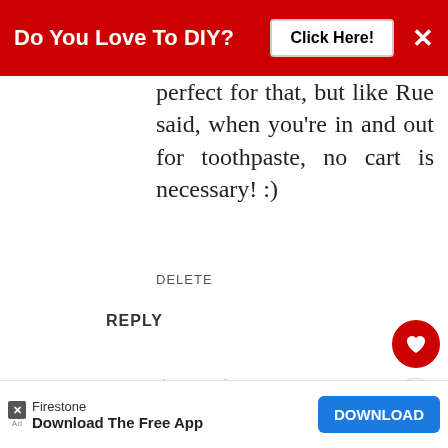Do You Love To DIY? Click Here!
perfect for that, but like Rue said, when you're in and out for toothpaste, no cart is necessary! :)
DELETE
REPLY
Carol ("Mimi")
APRIL 26, 2017 AT 2:25 PM
It's so true that having a cart makes you purchase more things, mindlessly. I've noticed that the carts
[Figure (infographic): WHAT'S NEXT callout with thumbnail image and text 'Summertime Yard Sale...']
Download The Free App  DOWNLOAD  Firestone